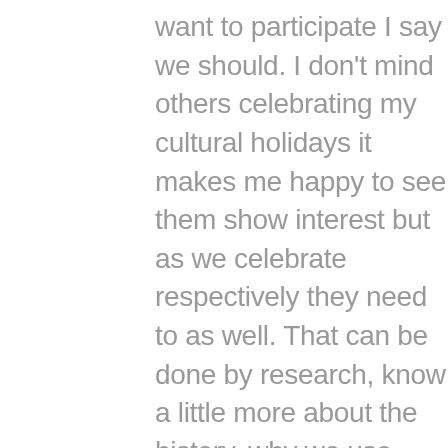want to participate I say we should. I don't mind others celebrating my cultural holidays it makes me happy to see them show interest but as we celebrate respectively they need to as well. That can be done by research, know a little more about the history, why we use marigolds, where can we make the alter, what type of foods do we need on the alter, how did La Catrina originate, why is she symbol for the holiday, there's so much to learn, but you appreciate it so much more. Also please do not use Pixar's "Coco" as a primary source of research, the movie is wonderful and